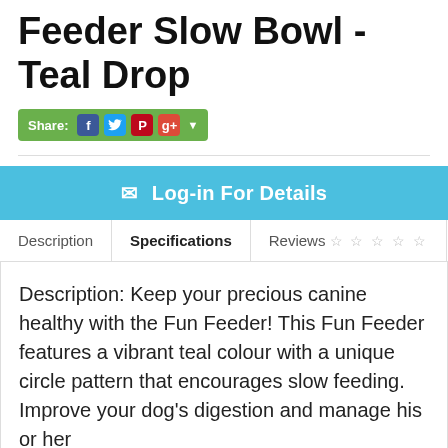Feeder Slow Bowl - Teal Drop
[Figure (infographic): Social share bar with green background showing Share label and social media icons for Facebook, Twitter, Pinterest, Google+]
Log-in For Details
Description | Specifications | Reviews (0 stars)
Description: Keep your precious canine healthy with the Fun Feeder! This Fun Feeder features a vibrant teal colour with a unique circle pattern that encourages slow feeding. Improve your dog's digestion and manage his or her